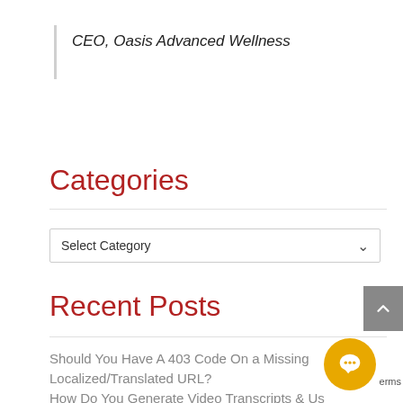CEO, Oasis Advanced Wellness
Categories
Select Category
Recent Posts
Should You Have A 403 Code On a Missing Localized/Translated URL?
How Do You Generate Video Transcripts & Us...